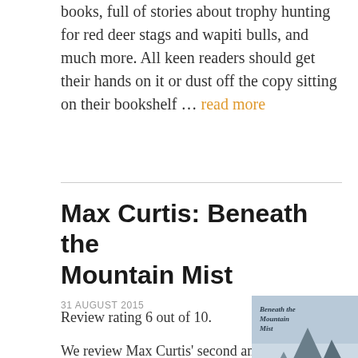books, full of stories about trophy hunting for red deer stags and wapiti bulls, and much more. All keen readers should get their hands on it or dust off the copy sitting on their bookshelf … read more
Max Curtis: Beneath the Mountain Mist
31 AUGUST 2015
Review rating 6 out of 10.
[Figure (photo): Book cover of 'Beneath the Mountain Mist' showing a person hiking on a mountain with misty background]
We review Max Curtis' second and last autobiography entitled 'Beneath